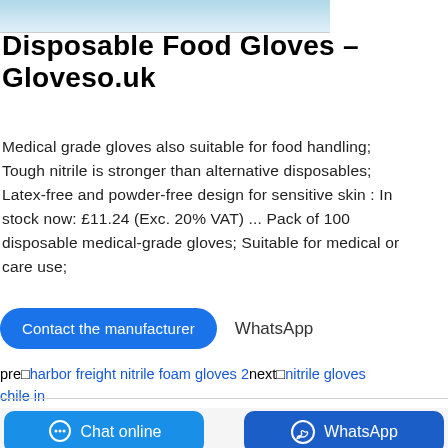[Figure (photo): Partial cropped image of gloves product at top of page]
Disposable Food Gloves - Gloveso.uk
Medical grade gloves also suitable for food handling; Tough nitrile is stronger than alternative disposables; Latex-free and powder-free design for sensitive skin : In stock now: £11.24 (Exc. 20% VAT) ... Pack of 100 disposable medical-grade gloves; Suitable for medical or care use;
Contact the manufacturer   WhatsApp
pre□harbor freight nitrile foam gloves 2next□nitrile gloves chile in
Chat online   WhatsApp